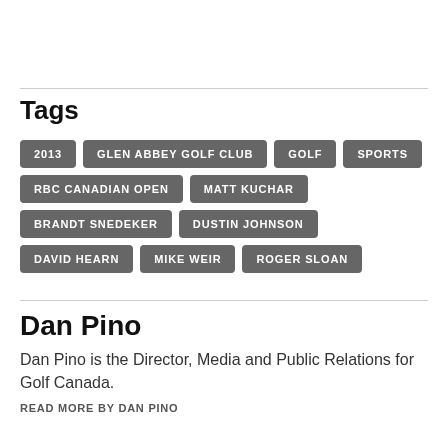Tags
2013
GLEN ABBEY GOLF CLUB
GOLF
SPORTS
RBC CANADIAN OPEN
MATT KUCHAR
BRANDT SNEDEKER
DUSTIN JOHNSON
DAVID HEARN
MIKE WEIR
ROGER SLOAN
Dan Pino
Dan Pino is the Director, Media and Public Relations for Golf Canada.
READ MORE BY DAN PINO